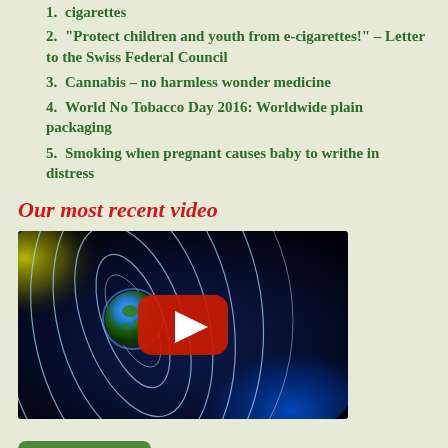cigarettes
“Protect children and youth from e-cigarettes!” – Letter to the Swiss Federal Council
Cannabis – no harmless wonder medicine
World No Tobacco Day 2016: Worldwide plain packaging
Smoking when pregnant causes baby to writhe in distress
Our most recent video
[Figure (screenshot): YouTube video thumbnail showing Earth with magnetic field lines in space, with a red YouTube play button overlay]
› All videos